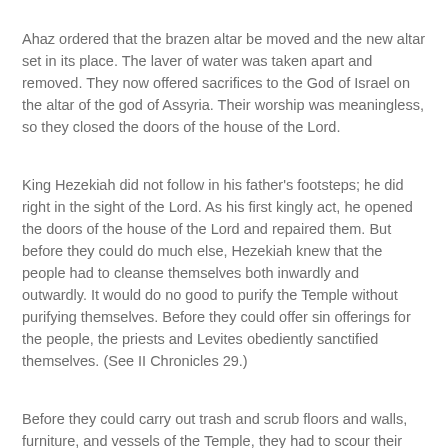Ahaz ordered that the brazen altar be moved and the new altar set in its place. The laver of water was taken apart and removed. They now offered sacrifices to the God of Israel on the altar of the god of Assyria. Their worship was meaningless, so they closed the doors of the house of the Lord.
King Hezekiah did not follow in his father's footsteps; he did right in the sight of the Lord. As his first kingly act, he opened the doors of the house of the Lord and repaired them. But before they could do much else, Hezekiah knew that the people had to cleanse themselves both inwardly and outwardly. It would do no good to purify the Temple without purifying themselves. Before they could offer sin offerings for the people, the priests and Levites obediently sanctified themselves. (See II Chronicles 29.)
Before they could carry out trash and scrub floors and walls, furniture, and vessels of the Temple, they had to scour their